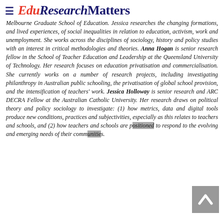EduResearchMatters
Melbourne Graduate School of Education. Jessica researches the changing formations, and lived experiences, of social inequalities in relation to education, activism, work and unemployment. She works across the disciplines of sociology, history and policy studies with an interest in critical methodologies and theories. Anna Hogan is senior research fellow in the School of Teacher Education and Leadership at the Queensland University of Technology. Her research focuses on education privatisation and commercialisation. She currently works on a number of research projects, including investigating philanthropy in Australian public schooling, the privatisation of global school provision, and the intensification of teachers' work. Jessica Holloway is senior research and ARC DECRA Fellow at the Australian Catholic University. Her research draws on political theory and policy sociology to investigate: (1) how metrics, data and digital tools produce new conditions, practices and subjectivities, especially as this relates to teachers and schools, and (2) how teachers and schools are positioned to respond to the evolving and emerging needs of their communities.